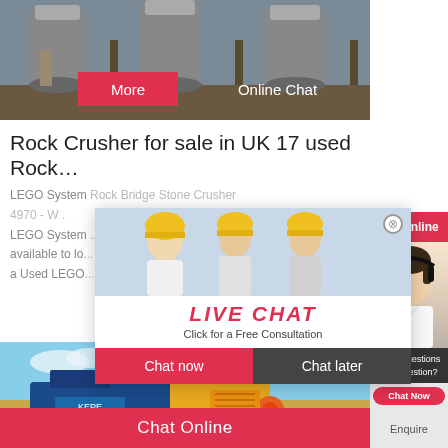[Figure (photo): Industrial machinery/crushers in a factory yard, with More and Online Chat buttons overlaid]
Rock Crusher for sale in UK 17 used Rock…
LEGO System Rock Bridge Stone Crusher 4970 - W . LEGO System ... hrs Online available to lo... a Used LEGO...
[Figure (screenshot): Live chat popup with workers in hard hats, LIVE CHAT heading in red italic, 'Click for a Free Consultation' subtitle, Chat now and Chat later buttons]
[Figure (photo): Customer service agent with headset on right side panel, with 'Need questions & suggestion?' text and Chat Now button]
[Figure (photo): Blue and yellow rock crusher machine on agricultural field background]
Chat Online